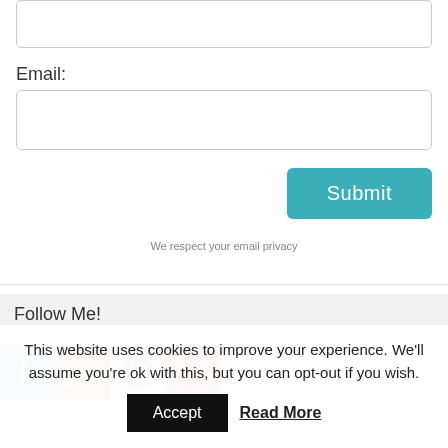Email:
[Figure (screenshot): Email input form with a text input box at top, an Email label, an email input field, and a teal Submit button]
We respect your email privacy
Follow Me!
[Figure (infographic): Row of social media icons: Facebook, Google+, Instagram, Pinterest, YouTube]
This website uses cookies to improve your experience. We'll assume you're ok with this, but you can opt-out if you wish.
Accept
Read More